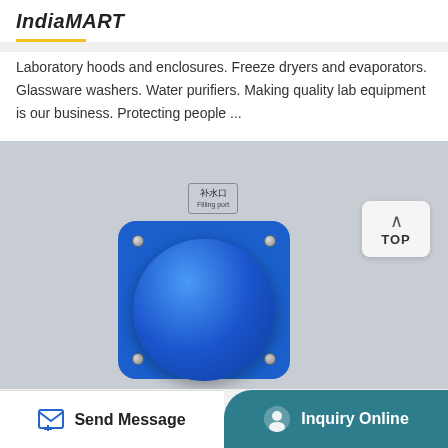IndiaMART
Laboratory hoods and enclosures. Freeze dryers and evaporators. Glassware washers. Water purifiers. Making quality lab equipment is our business. Protecting people ...
[Figure (photo): Photo of a blue water filling port cap/knob mounted on a grey panel with a label reading '补水口 Filling port'. A 'TOP' button is visible in the upper right corner.]
Send Message
Inquiry Online